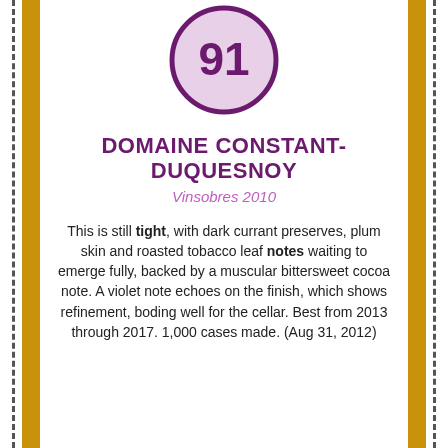[Figure (other): Score circle with purple border and lavender fill showing the number 91 in large bold purple text]
DOMAINE CONSTANT-DUQUESNOY
Vinsobres 2010
This is still tight, with dark currant preserves, plum skin and roasted tobacco leaf notes waiting to emerge fully, backed by a muscular bittersweet cocoa note. A violet note echoes on the finish, which shows refinement, boding well for the cellar. Best from 2013 through 2017. 1,000 cases made. (Aug 31, 2012)